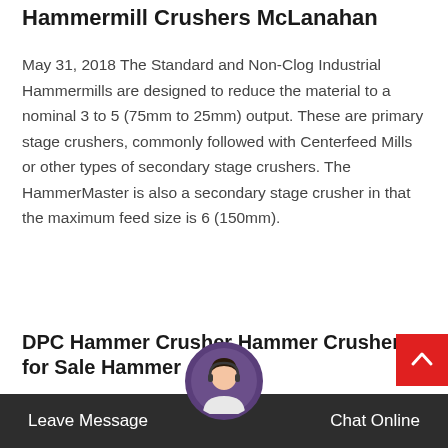Hammermill Crushers McLanahan
May 31, 2018 The Standard and Non-Clog Industrial Hammermills are designed to reduce the material to a nominal 3 to 5 (75mm to 25mm) output. These are primary stage crushers, commonly followed with Centerfeed Mills or other types of secondary stage crushers. The HammerMaster is also a secondary stage crusher in that the maximum feed size is 6 (150mm).
DPC Hammer Crusher Hammer Crusher for Sale Hammer
DPC Series Hammer Crusher are Ideal for: For fine and medium crushing. Soft and medium hard, non-sticking materials like limestone, gypsum, slate, barites, rice, bituminous coal and other...